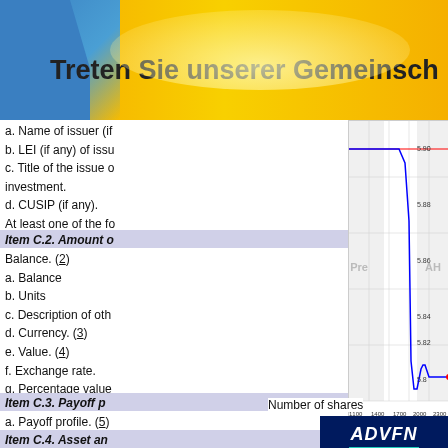[Figure (illustration): Top banner with blue/yellow gradient and text 'Treten Sie unserer Gemeinschaft...']
a. Name of issuer (if any).
b. LEI (if any) of issuer.
c. Title of the issue or description of the investment.
d. CUSIP (if any).
At least one of the following:
- ISIN
Item C.2. Amount of each investment.
Balance. (2)
a. Balance
b. Units
c. Description of other units.
d. Currency. (3)
e. Value. (4)
f. Exchange rate.
g. Percentage value compared to net assets of the Fund.
Item C.3. Payoff profile.
a. Payoff profile. (5)
Item C.4. Asset and issuer type.
[Figure (line-chart): Line chart showing price between ~5.80 and ~5.90 with Pre and AH labels, x-axis 1100-2300]
Number of shares
[Figure (screenshot): ADVFN Trades (Time & Sales) advertisement with dark blue background, ADVFN logo, and trades table screenshot showing Num, Exch., Price, Size, Type, C, T, Bid, Offer, Time columns with NYSE trades data]